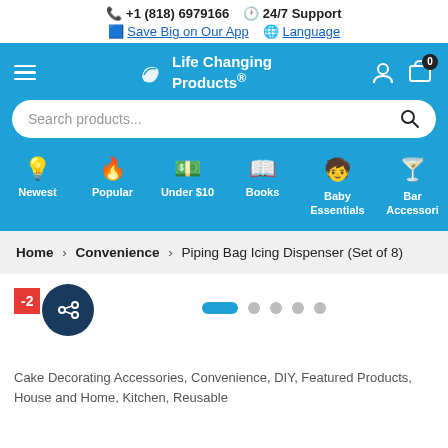+1 (818) 6979166  24/7 Support  Save Big on Our App  Language
[Figure (screenshot): Navigation bar with Life Changing Products logo, hamburger menu, user icon, and cart icon with 0 badge]
[Figure (screenshot): Search bar with placeholder text 'Search products...' and search icon]
[Figure (screenshot): Category icons row: Newest, Popular, Under $10, Books, Baby Essentials, Bar Accessori]
Home > Convenience > Piping Bag Icing Dispenser (Set of 8)
[Figure (screenshot): Product image area with -2 badge, share button, and carousel dots indicator]
Cake Decorating Accessories, Convenience, DIY, Featured Products, House and Home, Kitchen, Reusable